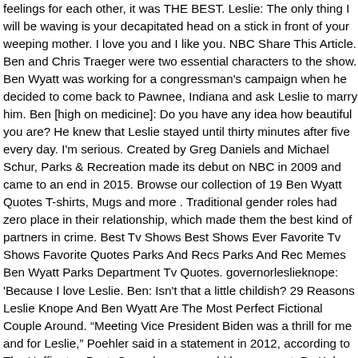feelings for each other, it was THE BEST. Leslie: The only thing I will be waving is your decapitated head on a stick in front of your weeping mother. I love you and I like you. NBC Share This Article. Ben and Chris Traeger were two essential characters to the show. Ben Wyatt was working for a congressman's campaign when he decided to come back to Pawnee, Indiana and ask Leslie to marry him. Ben [high on medicine]: Do you have any idea how beautiful you are? He knew that Leslie stayed until thirty minutes after five every day. I'm serious. Created by Greg Daniels and Michael Schur, Parks & Recreation made its debut on NBC in 2009 and came to an end in 2015. Browse our collection of 19 Ben Wyatt Quotes T-shirts, Mugs and more . Traditional gender roles had zero place in their relationship, which made them the best kind of partners in crime. Best Tv Shows Best Shows Ever Favorite Tv Shows Favorite Quotes Parks And Recs Parks And Rec Memes Ben Wyatt Parks Department Tv Quotes. governorleslieknope: 'Because I love Leslie. Ben: Isn't that a little childish? 29 Reasons Leslie Knope And Ben Wyatt Are The Most Perfect Fictional Couple Around. "Meeting Vice President Biden was a thrill for me and for Leslie," Poehler said in a statement in 2012, according to The Huffington Post. Come here, come hither peasant. By Kelsey Klemme Mar 25, 2020 1:00 PM Tags. He had a lot of work today, well not very much. She vowed early on to give back to this vibrant and fascinating town by living a life of public service. The journey of Leslie Knope in Parks & Recreation was originally going to be very different, and even though her story was changed